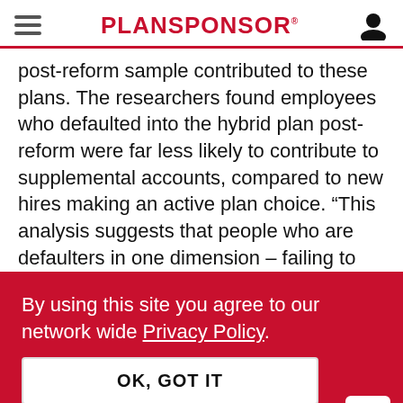PLANSPONSOR
post-reform sample contributed to these plans. The researchers found employees who defaulted into the hybrid plan post-reform were far less likely to contribute to supplemental accounts, compared to new hires making an active plan choice. “This analysis suggests that people who are defaulters in one dimension – failing to make
By using this site you agree to our network wide Privacy Policy.
OK, GOT IT